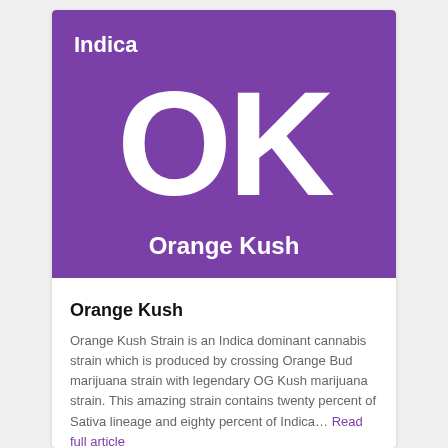[Figure (illustration): Purple banner card showing 'Indica' label top-left, large white 'OK' letters in center, and 'Orange Kush' text at bottom on purple background.]
Orange Kush
Orange Kush Strain is an Indica dominant cannabis strain which is produced by crossing Orange Bud marijuana strain with legendary OG Kush marijuana strain. This amazing strain contains twenty percent of Sativa lineage and eighty percent of Indica… Read full article